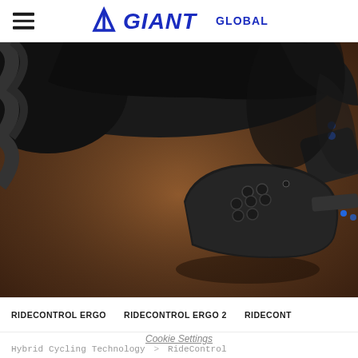GIANT GLOBAL
[Figure (photo): Close-up macro photograph of a black bicycle RideControl handlebar remote control unit with multiple buttons, mounted on the bike. The background shows blurred brown/amber tones and black bicycle components.]
RIDECONTROL ERGO   RIDECONTROL ERGO 2   RIDECONT
Cookie Settings
Hybrid Cycling Technology > RideControl